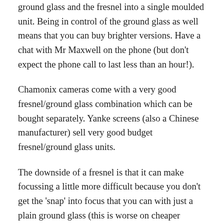ground glass and the fresnel into a single moulded unit. Being in control of the ground glass as well means that you can buy brighter versions. Have a chat with Mr Maxwell on the phone (but don't expect the phone call to last less than an hour!).
Chamonix cameras come with a very good fresnel/ground glass combination which can be bought separately. Yanke screens (also a Chinese manufacturer) sell very good budget fresnel/ground glass units.
The downside of a fresnel is that it can make focussing a little more difficult because you don't get the 'snap' into focus that you can with just a plain ground glass (this is worse on cheaper fresnels and is to do with the quality of moulding for the fresnel). Also, when you use a longer fresnel where the light rays are almost parallel, the fresnel can over bend the light rays and you can end up with a